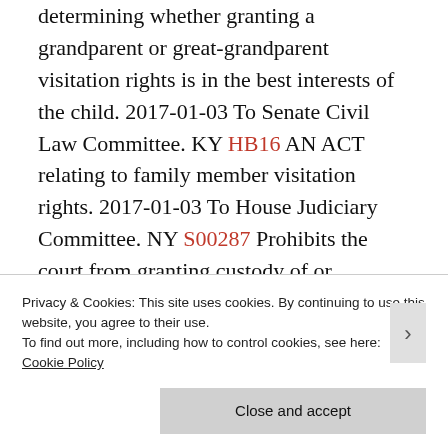determining whether granting a grandparent or great-grandparent visitation rights is in the best interests of the child. 2017-01-03 To Senate Civil Law Committee. KY HB16 AN ACT relating to family member visitation rights. 2017-01-03 To House Judiciary Committee. NY S00287 Prohibits the court from granting custody of or unsupervised visitation with a child to a person who has been convicted or accused of raping the parent of the child. 2017-01-04 To Senate Children and Families
Privacy & Cookies: This site uses cookies. By continuing to use this website, you agree to their use.
To find out more, including how to control cookies, see here: Cookie Policy
Close and accept